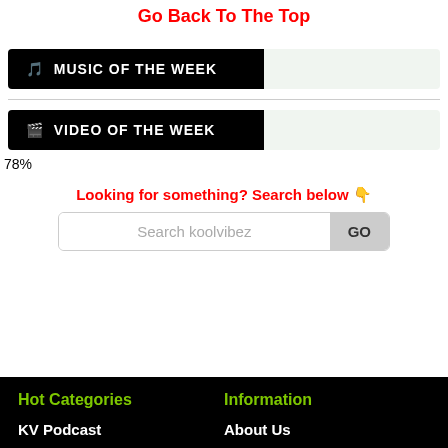Go Back To The Top
🎵 MUSIC OF THE WEEK
🎥 VIDEO OF THE WEEK
78%
Looking for something? Search below 👇
Search koolvibez  GO
Hot Categories
Information
KV Podcast
About Us